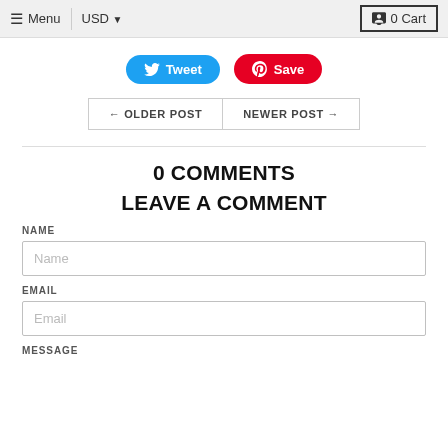≡ Menu  USD ▾  0 Cart
[Figure (screenshot): Tweet and Save (Pinterest) social sharing buttons]
← OLDER POST  NEWER POST →
0 COMMENTS
LEAVE A COMMENT
NAME
Name
EMAIL
Email
MESSAGE